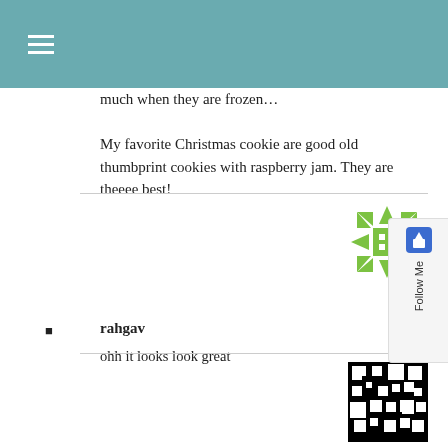≡
much when they are frozen…
My favorite Christmas cookie are good old thumbprint cookies with raspberry jam. They are theeee best!
rahgav
ohh it looks look great
Mary
Those cookies look so so good!

What do you do to defrost them? Do you just eat them
[Figure (illustration): Green decorative snowflake/star pattern avatar icon]
[Figure (illustration): Black and white geometric pattern avatar icon]